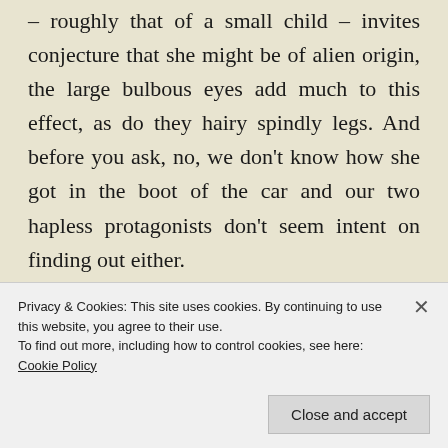– roughly that of a small child – invites conjecture that she might be of alien origin, the large bulbous eyes add much to this effect, as do they hairy spindly legs. And before you ask, no, we don't know how she got in the boot of the car and our two hapless protagonists don't seem intent on finding out either.
Quirky humour is often hard to get across to
Privacy & Cookies: This site uses cookies. By continuing to use this website, you agree to their use.
To find out more, including how to control cookies, see here: Cookie Policy
Close and accept